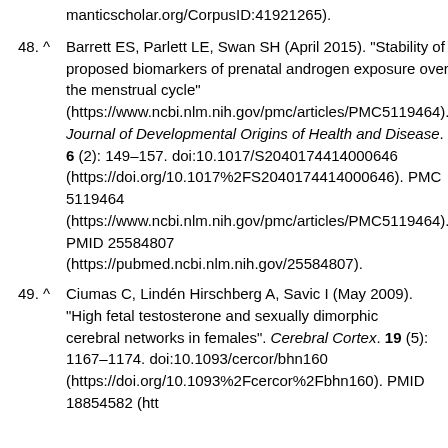manticscholar.org/CorpusID:41921265).
48. ^ Barrett ES, Parlett LE, Swan SH (April 2015). "Stability of proposed biomarkers of prenatal androgen exposure over the menstrual cycle" (https://www.ncbi.nlm.nih.gov/pmc/articles/PMC5119464). Journal of Developmental Origins of Health and Disease. 6 (2): 149–157. doi:10.1017/S2040174414000646 (https://doi.org/10.1017%2FS2040174414000646). PMC 5119464 (https://www.ncbi.nlm.nih.gov/pmc/articles/PMC5119464). PMID 25584807 (https://pubmed.ncbi.nlm.nih.gov/25584807).
49. ^ Ciumas C, Lindén Hirschberg A, Savic I (May 2009). "High fetal testosterone and sexually dimorphic cerebral networks in females". Cerebral Cortex. 19 (5): 1167–1174. doi:10.1093/cercor/bhn160 (https://doi.org/10.1093%2Fcercor%2Fbhn160). PMID 18854582 (htt